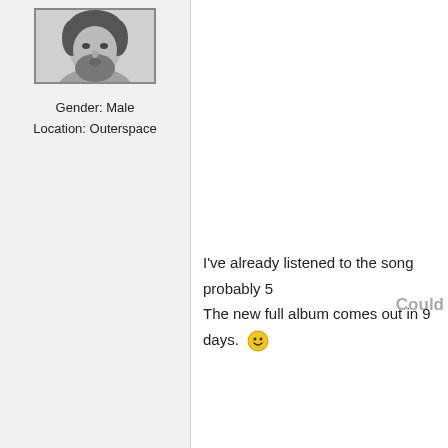[Figure (photo): Black and white profile photo of a bearded man with curly hair, shown from chest up]
Gender: Male
Location: Outerspace
Could
I've already listened to the song probably 5
The new full album comes out in 9 days.